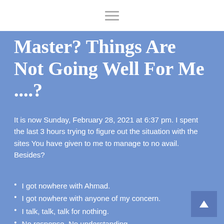Master? Things Are Not Going Well For Me ....?
It is now Sunday, February 28, 2021 at 6:37 pm. I spent the last 3 hours trying to figure out the situation with the sites You have given to me to manage to no avail. Besides?
I got nowhere with Ahmad.
I got nowhere with anyone of my concern.
I talk, talk, talk for nothing.
No response. No understanding.
Same thing all my life.